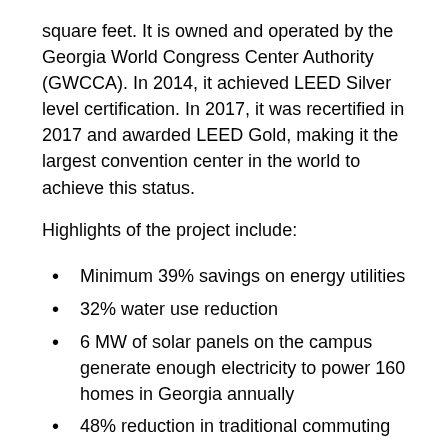square feet. It is owned and operated by the Georgia World Congress Center Authority (GWCCA). In 2014, it achieved LEED Silver level certification. In 2017, it was recertified in 2017 and awarded LEED Gold, making it the largest convention center in the world to achieve this status.
Highlights of the project include:
Minimum 39% savings on energy utilities
32% water use reduction
6 MW of solar panels on the campus generate enough electricity to power 160 homes in Georgia annually
48% reduction in traditional commuting
Diverted 14 million pounds of waste since 2010